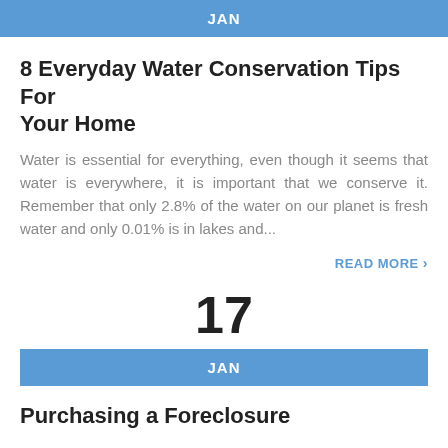JAN
8 Everyday Water Conservation Tips For Your Home
Water is essential for everything, even though it seems that water is everywhere, it is important that we conserve it. Remember that only 2.8% of the water on our planet is fresh water and only 0.01% is in lakes and...
READ MORE >
17
JAN
Purchasing a Foreclosure